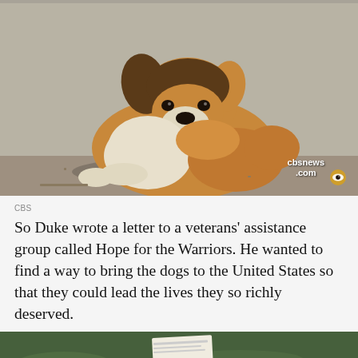[Figure (photo): A fluffy tan and brown puppy lying on a concrete/dirt surface against a wall. CBS News watermark and eye logo visible in bottom right corner.]
CBS
So Duke wrote a letter to a veterans’ assistance group called Hope for the Warriors. He wanted to find a way to bring the dogs to the United States so that they could lead the lives they so richly deserved.
[Figure (photo): Partial photo showing green grass at the bottom of the page, with what appears to be a piece of paper and possibly feet/shoes.]